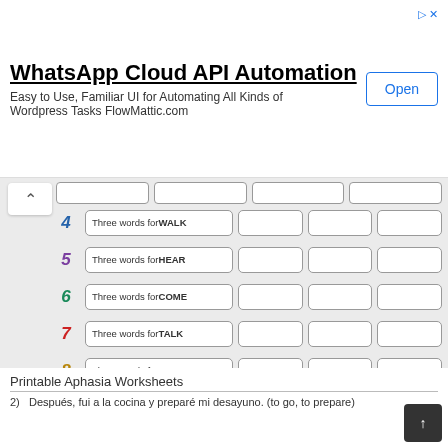[Figure (screenshot): Ad banner for WhatsApp Cloud API Automation with Open button]
[Figure (screenshot): Worksheet with numbered rows (4-11) asking for three words for WALK, HEAR, COME, TALK, LIKE, DREAM, MEAN, RUN with answer boxes]
Printable Aphasia Worksheets
2)   Después, fui a la cocina y preparé mi desayuno. (to go, to prepare)